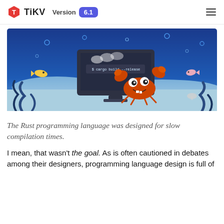TiKV Version 6.1
[Figure (illustration): Underwater scene illustration with a cartoon crab character in front of a computer monitor showing 'cargo build --release' command, surrounded by fish, bubbles, and ocean plants on a blue background]
The Rust programming language was designed for slow compilation times.
I mean, that wasn't the goal. As is often cautioned in debates among their designers, programming language design is full of